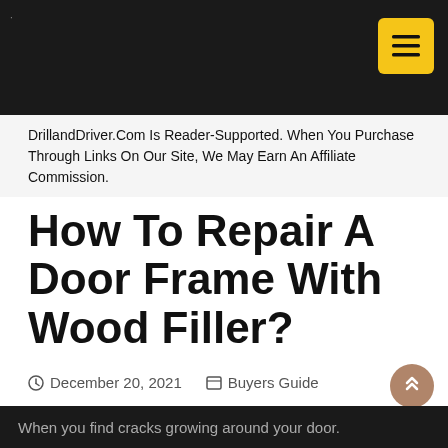DrillandDriver.Com Is Reader-Supported. When You Purchase Through Links On Our Site, We May Earn An Affiliate Commission.
How To Repair A Door Frame With Wood Filler?
December 20, 2021   Buyers Guide
SHARES
When you find cracks growing around your door.